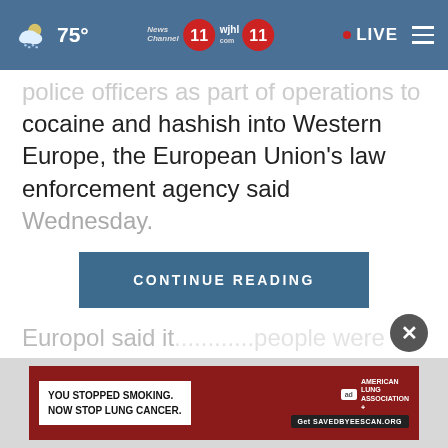75° News Channel 11 wjhl.com 11 • LIVE
police officers as part of operations to ship tons of cocaine and hashish into Western Europe, the European Union's law enforcement agency said Wednesday.
CONTINUE READING
Europol said it... ...people were
[Figure (screenshot): Advertisement banner: YOU STOPPED SMOKING. NOW STOP LUNG CANCER. American Lung Association. Get SAVEDBYEESCAN.ORG]